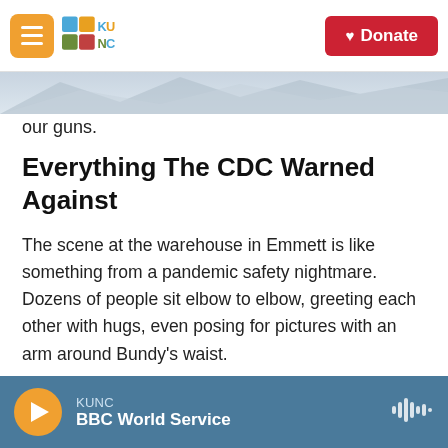KUNC — Donate
our guns.
Everything The CDC Warned Against
The scene at the warehouse in Emmett is like something from a pandemic safety nightmare. Dozens of people sit elbow to elbow, greeting each other with hugs, even posing for pictures with an arm around Bundy’s waist.
The small rally is also illegal, according to the emergency order issued by Idaho’s governor.
KUNC — BBC World Service